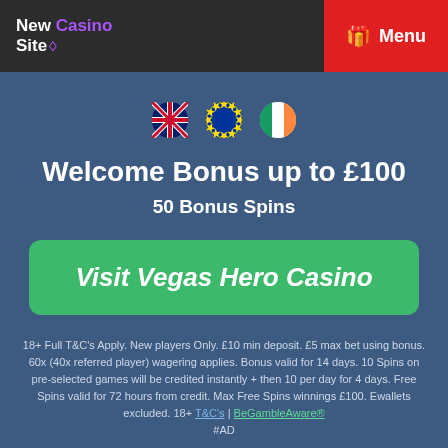New Casino Site | Menu
[Figure (illustration): Three circular flag icons: UK flag, EU flag, Irish flag]
Welcome Bonus up to £100
50 Bonus Spins
Visit Vegas Hero Casino
18+ Full T&C's Apply. New players Only. £10 min deposit. £5 max bet using bonus. 60x (40x referred player) wagering applies. Bonus valid for 14 days. 10 Spins on pre-selected games will be credited instantly + then 10 per day for 4 days. Free Spins valid for 72 hours from credit. Max Free Spins winnings £100. Ewallets excluded. 18+ T&C's | BeGambleAware® #AD